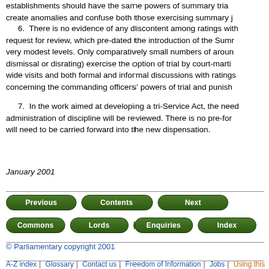establishments should have the same powers of summary trial create anomalies and confuse both those exercising summary j
6.  There is no evidence of any discontent among ratings with request for review, which pre-dated the introduction of the Sumr very modest levels. Only comparatively small numbers of aroun dismissal or disrating) exercise the option of trial by court-marti wide visits and both formal and informal discussions with ratings concerning the commanding officers' powers of trial and punish
7.  In the work aimed at developing a tri-Service Act, the need administration of discipline will be reviewed. There is no pre-for will need to be carried forward into the new dispensation.
January 2001
[Figure (other): Navigation buttons row 1: Previous, Contents, Next]
[Figure (other): Navigation buttons row 2: Commons, Lords, Enquiries, Index]
© Parliamentary copyright 2001
A-Z index | Glossary | Contact us | Freedom of Information | Jobs | Using this w